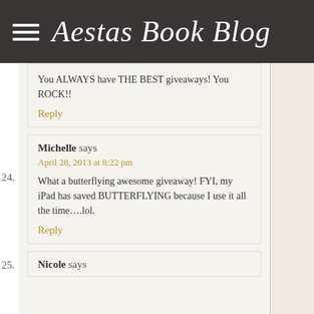Aestas Book Blog
You ALWAYS have THE BEST giveaways! You ROCK!!
Reply
24. Michelle says
April 28, 2013 at 8:22 pm
What a butterflying awesome giveaway! FYI, my iPad has saved BUTTERFLYING because I use it all the time….lol.
Reply
25. Nicole says